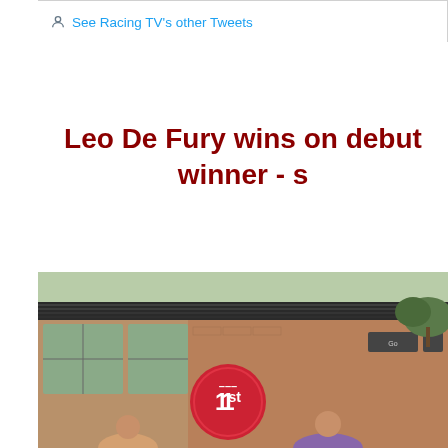See Racing TV's other Tweets
Leo De Fury wins on debut - winner - s
[Figure (photo): Photo of people at a racecourse winner's enclosure, with a red circular '1st' place rosette/sign visible in the center foreground. A building with glass windows and a covered structure is visible in the background.]